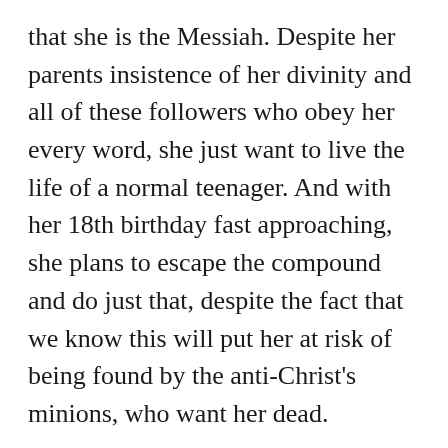that she is the Messiah. Despite her parents insistence of her divinity and all of these followers who obey her every word, she just want to live the life of a normal teenager. And with her 18th birthday fast approaching, she plans to escape the compound and do just that, despite the fact that we know this will put her at risk of being found by the anti-Christ's minions, who want her dead.
So this was an interesting issue, except here is a problem not usually associated with Mark Millar's writing, and that is this is too brief. All of his other creator-owned miniseries have been